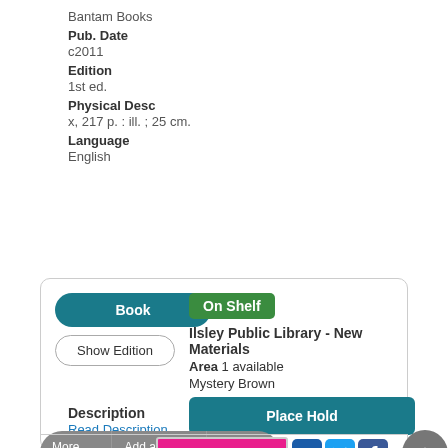Bantam Books
Pub. Date
c2011
Edition
1st ed.
Physical Desc
x, 217 p. : ill. ; 25 cm.
Language
English
Book | On Shelf | Show Edition | Ilsley Public Library - New Materials Area 1 available | Mystery Brown | Place Hold
Description
Read Description
More Info | Add a Review | Add to list
[Figure (photo): Book cover showing Rita Mae Brown series in pink and white text]